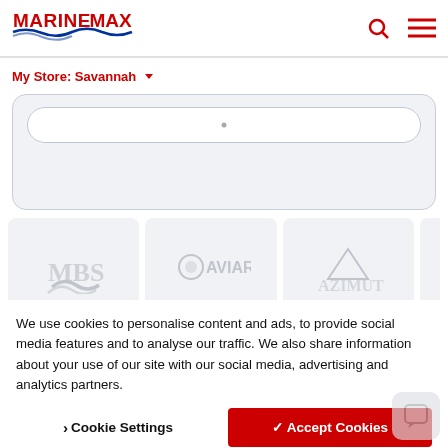MarineMax — My Store: Savannah
[Figure (screenshot): MarineMax website header with logo, search icon, and hamburger menu]
My Store: Savannah ▾
[Figure (screenshot): Search box area with rounded rectangle input on light grey background]
[Figure (screenshot): Row of boat brand logo cards (partially visible): first card with wave logo, second card with Aviara logo, third card with another logo, and partial fourth card]
We use cookies to personalise content and ads, to provide social media features and to analyse our traffic. We also share information about your use of our site with our social media, advertising and analytics partners.
❯ Cookie Settings
✓ Accept Cookies